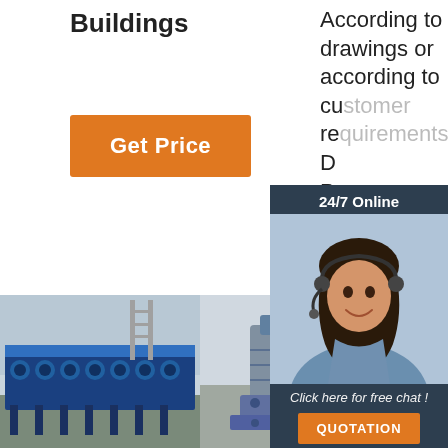Buildings
According to drawings or according to customer requirements
D
P
[Figure (illustration): Orange 'Get Price' button]
[Figure (illustration): Customer service chat popup with 24/7 Online label, agent photo, 'Click here for free chat!' text, and QUOTATION button]
[Figure (photo): Industrial roll forming machinery in a factory setting - three side by side photos]
[Figure (logo): TOP badge logo with orange dotted circle and orange text]